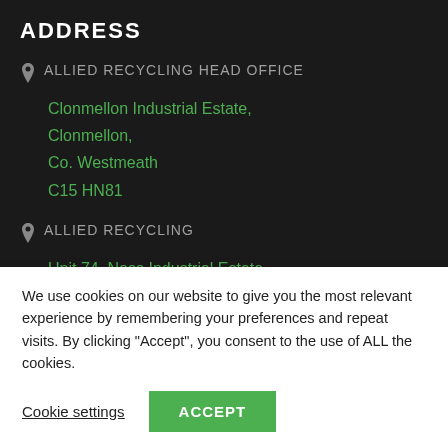ADDRESS
ALLIED RECYCLING HEAD OFFICE
Clonmellon Industrial Estate,
Clonmellon,
Co. Westmeath
C15 HN81
ALLIED RECYCLING
Unit 74, Nass Industrial Estate,
We use cookies on our website to give you the most relevant experience by remembering your preferences and repeat visits. By clicking "Accept", you consent to the use of ALL the cookies.
Cookie settings
ACCEPT